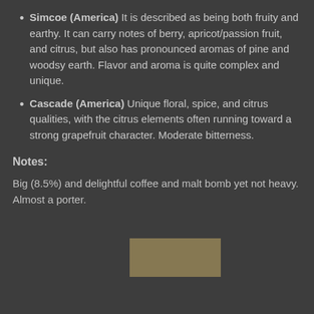Simcoe (America) It is described as being both fruity and earthy. It can carry notes of berry, apricot/passion fruit, and citrus, but also has pronounced aromas of pine and woodsy earth. Flavor and aroma is quite complex and unique.
Cascade (America) Unique floral, spice, and citrus qualities, with the citrus elements often running toward a strong grapefruit character. Moderate bitterness.
Notes:
Big (8.5%) and delightful coffee and malt bomb yet not heavy. Almost a porter.